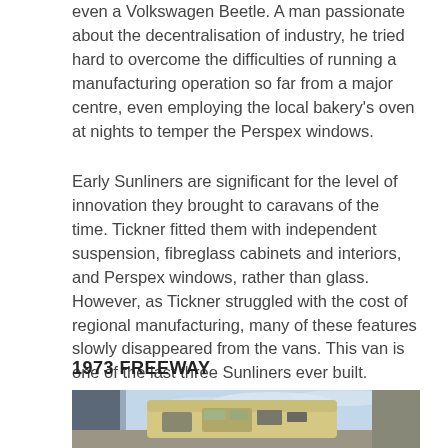even a Volkswagen Beetle. A man passionate about the decentralisation of industry, he tried hard to overcome the difficulties of running a manufacturing operation so far from a major centre, even employing the local bakery's oven at nights to temper the Perspex windows.
Early Sunliners are significant for the level of innovation they brought to caravans of the time. Tickner fitted them with independent suspension, fibreglass cabinets and interiors, and Perspex windows, rather than glass. However, as Tickner struggled with the cost of regional manufacturing, many of these features slowly disappeared from the vans. This van is one of the last three Sunliners ever built.
1973 FREEWAY
[Figure (photo): Photograph of a 1973 Freeway caravan/motorhome outdoors, showing a large vehicle with cream and gold coloring against a partly cloudy sky, with structures visible in the background.]